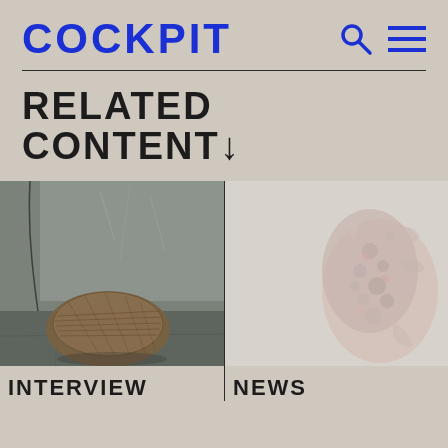COCKPIT
RELATED CONTENT↓
[Figure (photo): A wicker/woven basket chair sculpture on a concrete floor against a white wall with an electrical cord nearby]
INTERVIEW
[Figure (photo): A pinkish-white coral-like sculptural object with lattice/organic texture on a light background]
NEWS